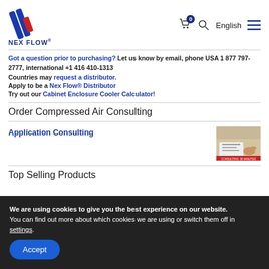NEX FLOW logo and navigation header with cart, search, English language selector, and menu
Got a question prior to purchasing? Let us know by email, phone USA 1 877 797-2777, international +1 416 410-1313
Countries may request a distributor.
Apply to be a Nex Flow® Distributor
Try out our Cabinet Enclosure Cooler Calculator!
Order Compressed Air Consulting
Application Consulting
[Figure (photo): Consulting session photo showing hands at a desk with papers]
Top Selling Products
We are using cookies to give you the best experience on our website.
You can find out more about which cookies we are using or switch them off in settings.
Accept